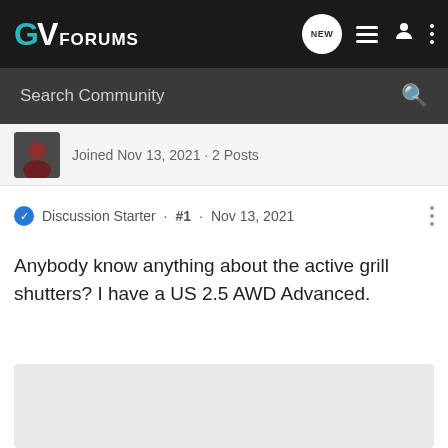GV FORUMS
Search Community
Joined Nov 13, 2021 · 2 Posts
Discussion Starter · #1 · Nov 13, 2021
Anybody know anything about the active grill shutters? I have a US 2.5 AWD Advanced.
[Figure (photo): Placeholder image area, light grey background]